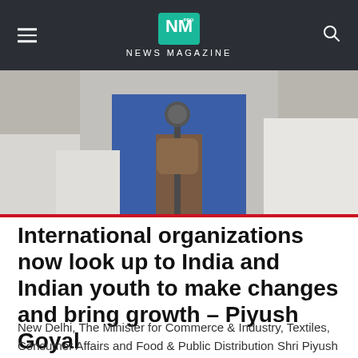NM PRO NEWS MAGAZINE
[Figure (photo): Close-up photo of a person in a blue vest holding a microphone, with another person in white visible in the background.]
International organizations now look up to India and Indian youth to make changes and bring growth – Piyush Goyal
New Delhi, The Minister for Commerce & Industry, Textiles, Consumer Affairs and Food & Public Distribution Shri Piyush